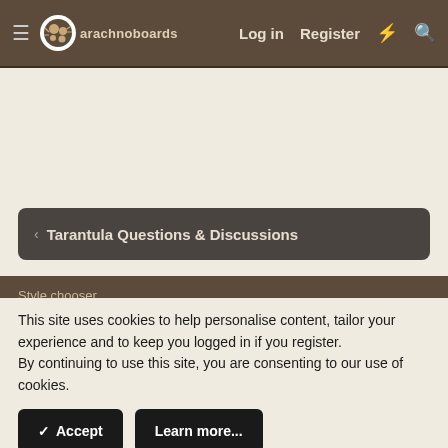arachnoboards — Log in  Register
Tarantula Questions & Discussions
Style chooser
Contact us  Terms and rules  Privacy policy  Help
About us
Arachnoboards.com is the Internet's largest forum community for
Hello there, why not take a few seconds to register on our forums and become part of the community? Just click here.
This site uses cookies to help personalise content, tailor your experience and to keep you logged in if you register.
By continuing to use this site, you are consenting to our use of cookies.
✓ Accept    Learn more...